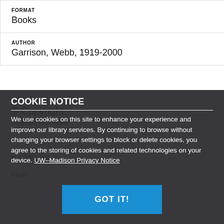| FORMAT | Books |
| AUTHOR | Garrison, Webb, 1919-2000 |
COOKIE NOTICE
We use cookies on this site to enhance your experience and improve our library services. By continuing to browse without changing your browser settings to block or delete cookies, you agree to the storing of cookies and related technologies on your device. UW–Madison Privacy Notice
GOT IT!